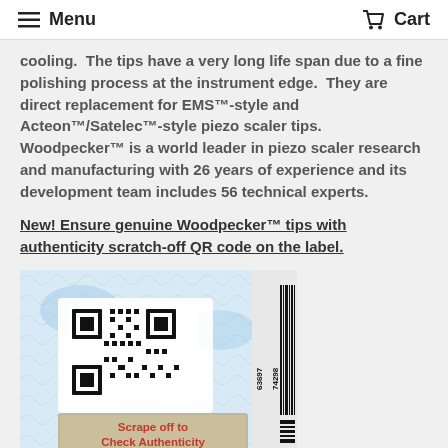Menu  Cart
cooling.  The tips have a very long life span due to a fine polishing process at the instrument edge.  They are direct replacement for EMS™-style and Acteon™/Satelec™-style piezo scaler tips.  Woodpecker™ is a world leader in piezo scaler research and manufacturing with 26 years of experience and its development team includes 56 technical experts.
New! Ensure genuine Woodpecker™ tips with authenticity scratch-off QR code on the label.
[Figure (photo): Photo of a product authenticity label showing a QR code on a blue security background, with a silver scratch-off area at the bottom reading 'Scrape off to Check Authenticity', and a barcode on the right side with number 63697 74298.]